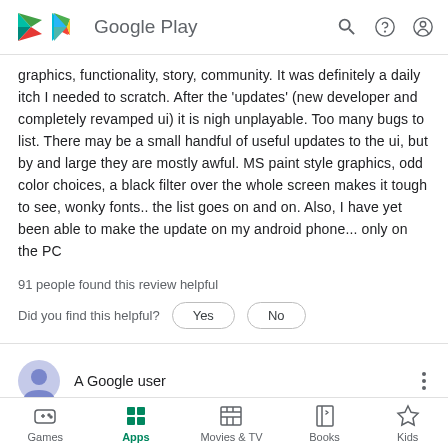Google Play
graphics, functionality, story, community. It was definitely a daily itch I needed to scratch. After the 'updates' (new developer and completely revamped ui) it is nigh unplayable. Too many bugs to list. There may be a small handful of useful updates to the ui, but by and large they are mostly awful. MS paint style graphics, odd color choices, a black filter over the whole screen makes it tough to see, wonky fonts.. the list goes on and on. Also, I have yet been able to make the update on my android phone... only on the PC
91 people found this review helpful
Did you find this helpful?
A Google user
Games | Apps | Movies & TV | Books | Kids